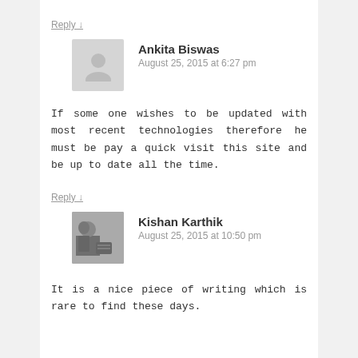Reply ↓
Ankita Biswas
August 25, 2015 at 6:27 pm
If some one wishes to be updated with most recent technologies therefore he must be pay a quick visit this site and be up to date all the time.
Reply ↓
Kishan Karthik
August 25, 2015 at 10:50 pm
It is a nice piece of writing which is rare to find these days.